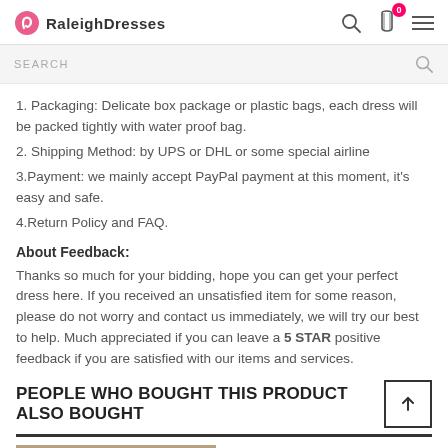RaleighDresses
1. Packaging: Delicate box package or plastic bags, each dress will be packed tightly with water proof bag.
2. Shipping Method: by UPS or DHL or some special airline
3.Payment: we mainly accept PayPal payment at this moment, it's easy and safe.
4.Return Policy and FAQ.
About Feedback:
Thanks so much for your bidding, hope you can get your perfect dress here. If you received an unsatisfied item for some reason, please do not worry and contact us immediately, we will try our best to help. Much appreciated if you can leave a 5 STAR positive feedback if you are satisfied with our items and services.
PEOPLE WHO BOUGHT THIS PRODUCT ALSO BOUGHT